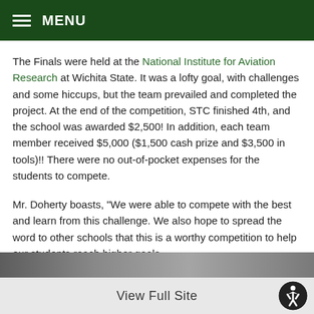MENU
The Finals were held at the National Institute for Aviation Research at Wichita State. It was a lofty goal, with challenges and some hiccups, but the team prevailed and completed the project. At the end of the competition, STC finished 4th, and the school was awarded $2,500! In addition, each team member received $5,000 ($1,500 cash prize and $3,500 in tools)!! There were no out-of-pocket expenses for the students to compete.
Mr. Doherty boasts, "We were able to compete with the best and learn from this challenge. We also hope to spread the word to other schools that this is a worthy competition to help our students reach higher goals.
We all really enjoyed this competition, and great to be among other skilled trades."
[Figure (photo): A photo strip partially visible at the bottom of the page]
View Full Site